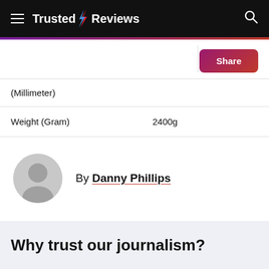Trusted Reviews
| (Millimeter) |  |
| Weight (Gram) | 2400g |
By Danny Phillips
Why trust our journalism?